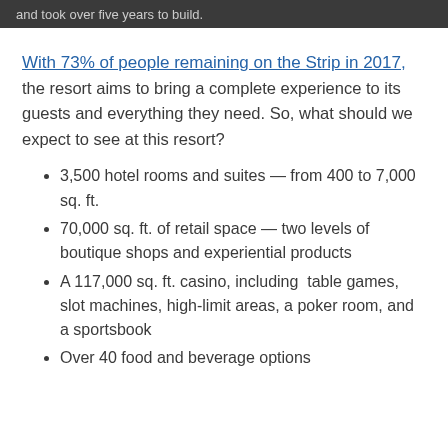and took over five years to build.
With 73% of people remaining on the Strip in 2017, the resort aims to bring a complete experience to its guests and everything they need. So, what should we expect to see at this resort?
3,500 hotel rooms and suites — from 400 to 7,000 sq. ft.
70,000 sq. ft. of retail space — two levels of boutique shops and experiential products
A 117,000 sq. ft. casino, including table games, slot machines, high-limit areas, a poker room, and a sportsbook
Over 40 food and beverage options